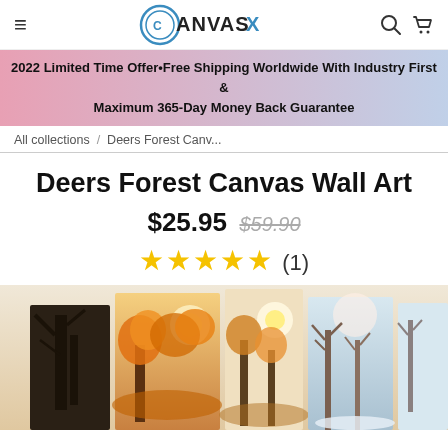CanvasX
2022 Limited Time Offer•Free Shipping Worldwide With Industry First & Maximum 365-Day Money Back Guarantee
All collections / Deers Forest Canv...
Deers Forest Canvas Wall Art
$25.95  $59.90  ★★★★★ (1)
[Figure (photo): Product photo showing multiple canvas panels depicting deer in an autumn forest scene with warm orange foliage and sunlight]